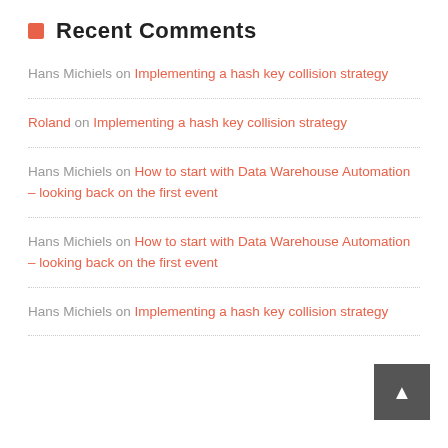Recent Comments
Hans Michiels on Implementing a hash key collision strategy
Roland on Implementing a hash key collision strategy
Hans Michiels on How to start with Data Warehouse Automation – looking back on the first event
Hans Michiels on How to start with Data Warehouse Automation – looking back on the first event
Hans Michiels on Implementing a hash key collision strategy